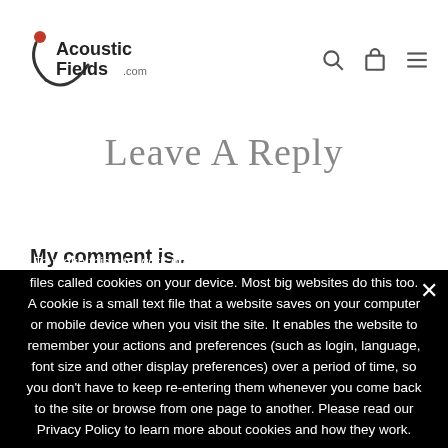AcousticFields.com
Leave A Reply
My comment is..
To make this site work properly, we sometimes place small data files called cookies on your device. Most big websites do this too. A cookie is a small text file that a website saves on your computer or mobile device when you visit the site. It enables the website to remember your actions and preferences (such as login, language, font size and other display preferences) over a period of time, so you don't have to keep re-entering them whenever you come back to the site or browse from one page to another. Please read our Privacy Policy to learn more about cookies and how they work.
Ok   Read our Privacy Policy